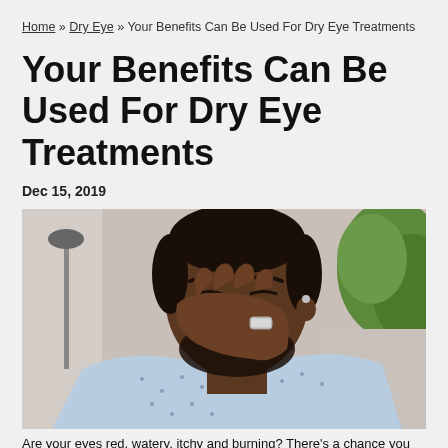Home » Dry Eye » Your Benefits Can Be Used For Dry Eye Treatments
Your Benefits Can Be Used For Dry Eye Treatments
Dec 15, 2019
[Figure (photo): A man with a beard and short hair, wearing a light blue patterned shirt, pressing his hand against his nose/eyes in apparent discomfort. He is wearing a silver ring. A lamp and greenery are visible in the blurred background.]
Are your eyes red, watery, itchy and burning? There's a chance you may have Dry Eye Disease (DED).